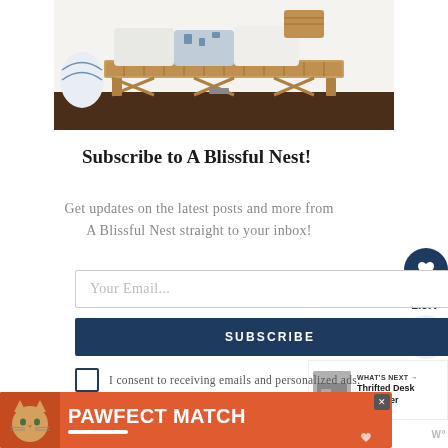[Figure (photo): Photo of a wicker/rattan bench with white and blue decorative pillows and a wicker basket, on a dark wood floor against a white wall]
Subscribe to A Blissful Nest!
Get updates on the latest posts and more from A Blissful Nest straight to your inbox!
Your Email...
SUBSCRIBE
I consent to receiving emails and personalized ads.
[Figure (infographic): PAWFECT MATCH advertisement banner with a cat photo on orange/red background]
[Figure (infographic): What's Next panel showing Thrifted Desk Makeover with small thumbnail image]